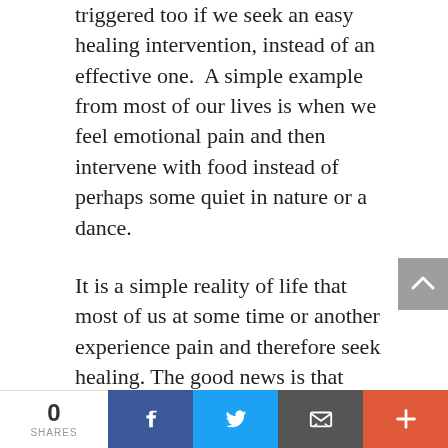triggered too if we seek an easy healing intervention, instead of an effective one.  A simple example from most of our lives is when we feel emotional pain and then intervene with food instead of perhaps some quiet in nature or a dance.
It is a simple reality of life that most of us at some time or another experience pain and therefore seek healing. The good news is that within each of us is there is a great doctor, a wonderful agent of
0 SHARES | Facebook | Twitter | Email | +